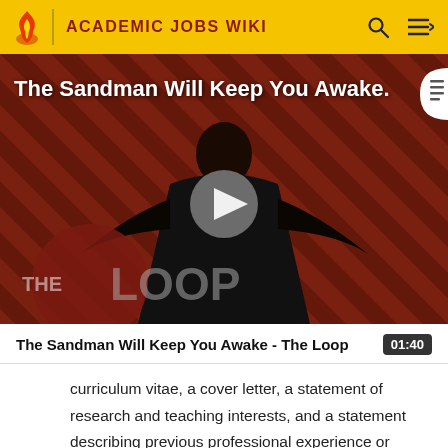ACADEMIC JOBS WIKI
[Figure (screenshot): Video thumbnail for 'The Sandman Will Keep You Awake - The Loop' showing a dark-cloaked figure against a red and black striped background with 'THE LOOP' text overlay and a play button in the center.]
The Sandman Will Keep You Awake - The Loop  01:40
curriculum vitae, a cover letter, a statement of research and teaching interests, and a statement describing previous professional experience or future